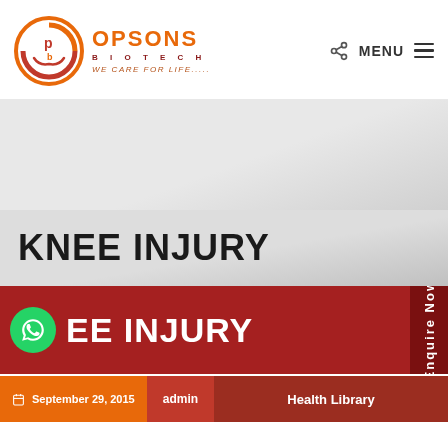[Figure (logo): Opsons Biotech logo with circular orange/red emblem and tagline 'WE CARE FOR LIFE.....']
KNEE INJURY
[Figure (screenshot): Red banner section showing 'KNEE INJURY' text in white on dark red background with WhatsApp icon and Enquire Now vertical tab]
September 29, 2015   admin   Health Library